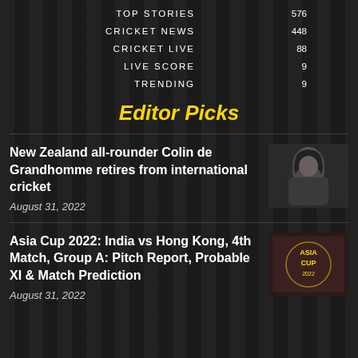| Category | Count |
| --- | --- |
| TOP STORIES | 576 |
| CRICKET NEWS | 448 |
| CRICKET LIVE | 88 |
| LIVE SCORE | 9 |
| TRENDING | 9 |
Editor Picks
New Zealand all-rounder Colin de Grandhomme retires from international cricket
August 31, 2022
[Figure (photo): Cricket player portrait - Colin de Grandhomme]
Asia Cup 2022: India vs Hong Kong, 4th Match, Group A: Pitch Report, Probable XI & Match Prediction
August 31, 2022
[Figure (photo): Asia Cup 2022 logo/graphic]